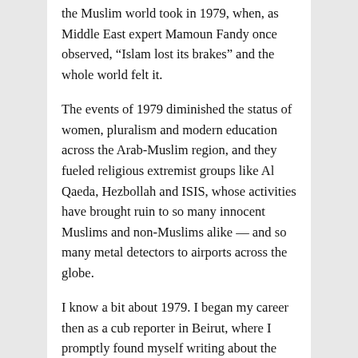the Muslim world took in 1979, when, as Middle East expert Mamoun Fandy once observed, “Islam lost its brakes” and the whole world felt it.
The events of 1979 diminished the status of women, pluralism and modern education across the Arab-Muslim region, and they fueled religious extremist groups like Al Qaeda, Hezbollah and ISIS, whose activities have brought ruin to so many innocent Muslims and non-Muslims alike — and so many metal detectors to airports across the globe.
I know a bit about 1979. I began my career then as a cub reporter in Beirut, where I promptly found myself writing about the following events: the ayatollahs’ takeover in Iran, creating a hard-right Shiite clerical regime bent on spreading its Islamic revolution and veiling of women across the Muslim world; and the takeover of the Grand Mosque in Mecca by puritanical Sunni extremists, which freaked out the Saudi ruling family. The family reacted by purging music, fun and entertainment from their desert